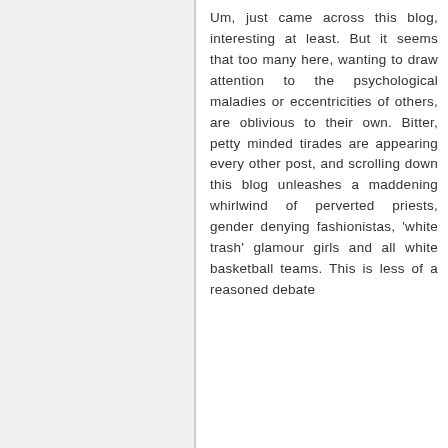Um, just came across this blog, interesting at least. But it seems that too many here, wanting to draw attention to the psychological maladies or eccentricities of others, are oblivious to their own. Bitter, petty minded tirades are appearing every other post, and scrolling down this blog unleashes a maddening whirlwind of perverted priests, gender denying fashionistas, 'white trash' glamour girls and all white basketball teams. This is less of a reasoned debate